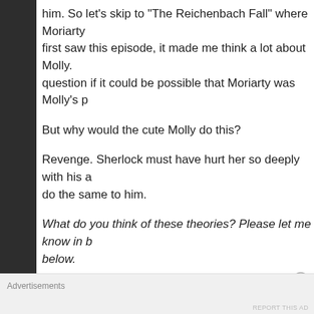him. So let’s skip to “The Reichenbach Fall” where Moriarty first saw this episode, it made me think a lot about Molly. question if it could be possible that Moriarty was Molly’s p
But why would the cute Molly do this?
Revenge. Sherlock must have hurt her so deeply with his a do the same to him.
What do you think of these theories? Please let me know in b below.
You can also read more from Linnea on her blog.
Advertisements